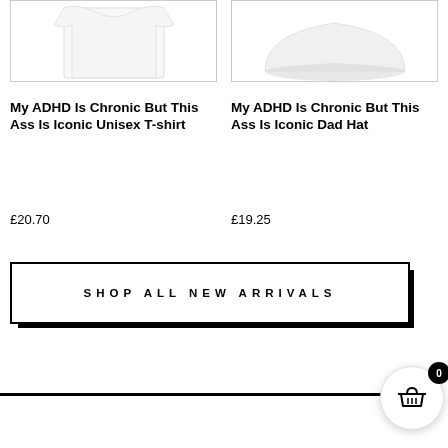[Figure (photo): Product image of a white unisex t-shirt on white background, top portion visible]
[Figure (photo): Product image of a white dad hat on white background, top portion visible]
My ADHD Is Chronic But This Ass Is Iconic Unisex T-shirt
£20.70
My ADHD Is Chronic But This Ass Is Iconic Dad Hat
£19.25
SHOP ALL NEW ARRIVALS
[Figure (illustration): Shopping basket icon with badge showing 0]